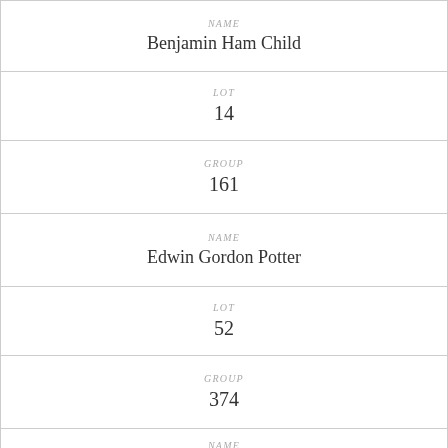| Field | Value |
| --- | --- |
| NAME | Benjamin Ham Child |
| LOT | 14 |
| GROUP | 161 |
| NAME | Edwin Gordon Potter |
| LOT | 52 |
| GROUP | 374 |
| NAME |  |